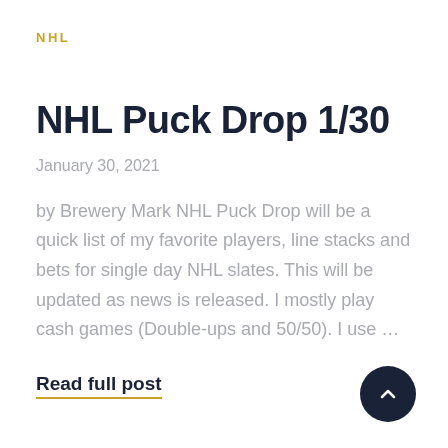NHL
NHL Puck Drop 1/30
January 30, 2021
by Brewery Mark NHL Puck Drop will be a quick list of my favorite players, line stacks and bets for single day NHL slates. This will be updated as news is released. I mostly play cash games (Double-ups and 50/50). I use …
Read full post